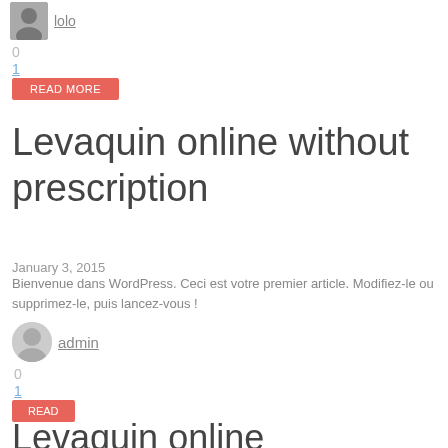lolo
0
1
READ MORE
Levaquin online without prescription
January 3, 2015
Bienvenue dans WordPress. Ceci est votre premier article. Modifiez-le ou supprimez-le, puis lancez-vous !
admin
0
1
READ
Levaquin online